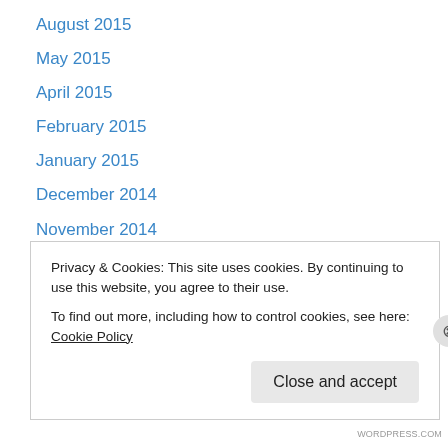August 2015
May 2015
April 2015
February 2015
January 2015
December 2014
November 2014
October 2014
September 2014
August 2014
July 2014
June 2014
May 2014
Privacy & Cookies: This site uses cookies. By continuing to use this website, you agree to their use.
To find out more, including how to control cookies, see here: Cookie Policy
WORDPRESS.COM